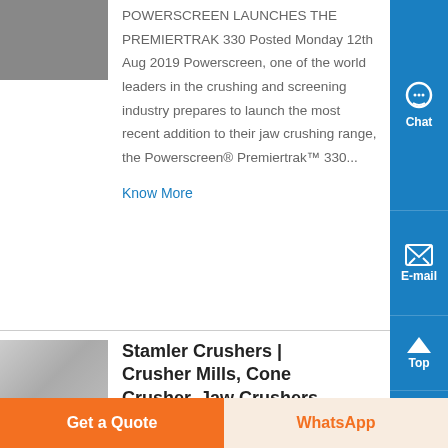[Figure (photo): Partial photo of industrial crushing machine at top left, mostly cropped]
POWERSCREEN LAUNCHES THE PREMIERTRAK 330 Posted Monday 12th Aug 2019 Powerscreen, one of the world leaders in the crushing and screening industry prepares to launch the most recent addition to their jaw crushing range, the Powerscreen® Premiertrak™ 330...
Know More
[Figure (photo): Photo of industrial Stamler crusher machinery]
Stamler Crushers | Crusher Mills, Cone Crusher, Jaw Crushers
stamler usa feeder breaker crusher | Clinker Grinding Mill stamler usa feeder
Get a Quote
WhatsApp